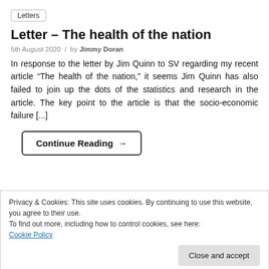Letters
Letter – The health of the nation
5th August 2020 / by Jimmy Doran
In response to the letter by Jim Quinn to SV regarding my recent article “The health of the nation,” it seems Jim Quinn has also failed to join up the dots of the statistics and research in the article. The key point to the article is that the socio-economic failure [...]
Continue Reading →
Privacy & Cookies: This site uses cookies. By continuing to use this website, you agree to their use.
To find out more, including how to control cookies, see here:
Cookie Policy
Close and accept